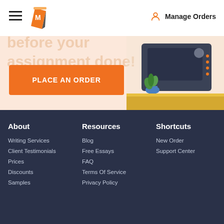Manage Orders
[Figure (illustration): Orange pencil/pen logo icon with letter M]
PLACE AN ORDER
[Figure (illustration): Decorative illustration of a desk/typewriter scene with plant on dark background with golden base]
About
Writing Services
Client Testimonials
Prices
Discounts
Samples
Resources
Blog
Free Essays
FAQ
Terms Of Service
Privacy Policy
Shortcuts
New Order
Support Center